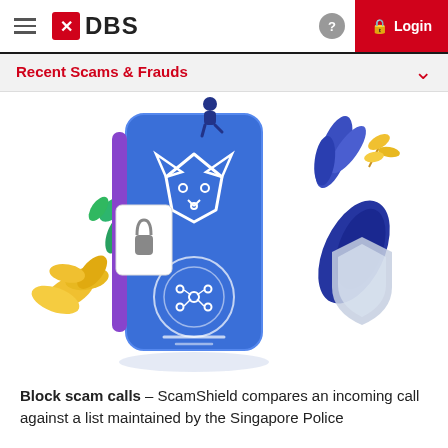DBS Login
Recent Scams & Frauds
[Figure (illustration): Colorful illustration of a large blue smartphone with a fox-face security shield icon and a lock icon, surrounded by decorative plants (green, yellow, blue leaves), a shield icon, and a small person sitting on top. Represents ScamShield security concept.]
Block scam calls – ScamShield compares an incoming call against a list maintained by the Singapore Police